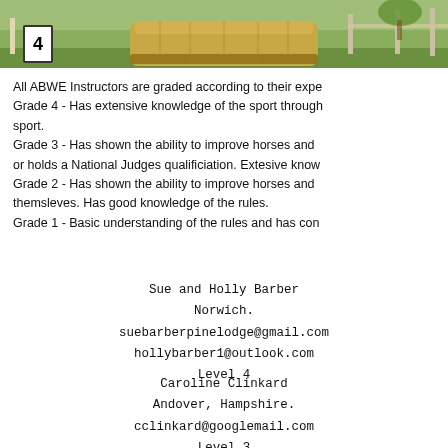[Figure (photo): Outdoor equestrian cross-country scene with hay bale jump, green grass background, fence posts, and a number 4 marker post]
All ABWE Instructors are graded according to their expe... Grade 4 - Has extensive knowledge of the sport through... sport. Grade 3 - Has shown the ability to improve horses and ... or holds a National Judges qualificiation. Extesive know... Grade 2 - Has shown the ability to improve horses and ... themsleves. Has good knowledge of the rules. Grade 1 - Basic understanding of the rules and has con...
Sue and Holly Barber
Norwich.
suebarberpinelodge@gmail.com
hollybarber1@outlook.com
Level 4
Caroline Clinkard
Andover, Hampshire.
cclinkard@googlemail.com
Level 3